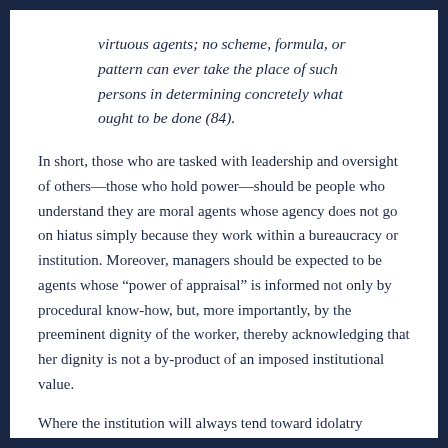virtuous agents; no scheme, formula, or pattern can ever take the place of such persons in determining concretely what ought to be done (84).
In short, those who are tasked with leadership and oversight of others—those who hold power—should be people who understand they are moral agents whose agency does not go on hiatus simply because they work within a bureaucracy or institution. Moreover, managers should be expected to be agents whose “power of appraisal” is informed not only by procedural know-how, but, more importantly, by the preeminent dignity of the worker, thereby acknowledging that her dignity is not a by-product of an imposed institutional value.
Where the institution will always tend toward idolatry